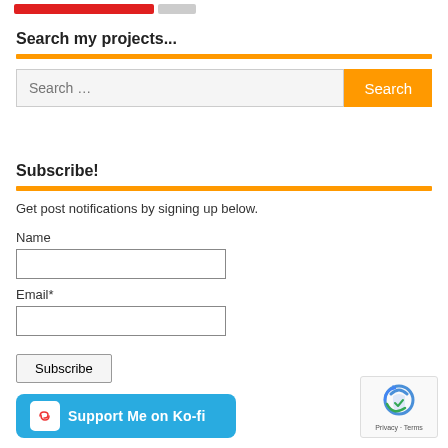[Figure (other): Top bar with red and gray progress-bar style element]
Search my projects...
[Figure (other): Search input field with orange Search button]
Subscribe!
Get post notifications by signing up below.
Name
Email*
[Figure (other): Subscribe button]
[Figure (other): Support Me on Ko-fi button (teal/blue)]
[Figure (other): reCAPTCHA privacy badge with logo, Privacy and Terms links]